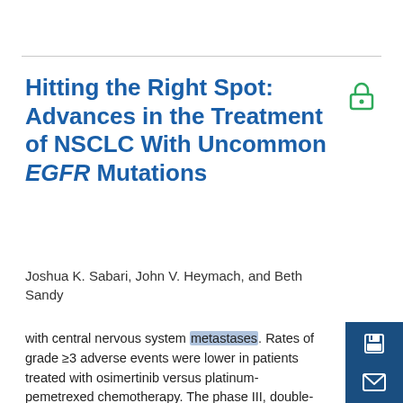Hitting the Right Spot: Advances in the Treatment of NSCLC With Uncommon EGFR Mutations
Joshua K. Sabari, John V. Heymach, and Beth Sandy
with central nervous system metastases. Rates of grade ≥3 adverse events were lower in patients treated with osimertinib versus platinum-pemetrexed chemotherapy. The phase III, double-blind FLAURA trial of osimertinib randomized 556 patients with